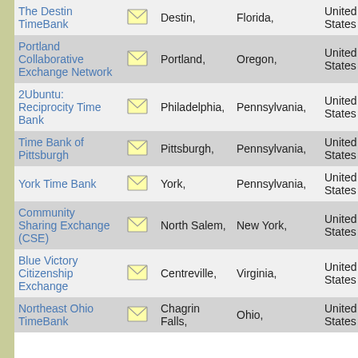| Name |  | City | State | Country | # |
| --- | --- | --- | --- | --- | --- |
| The Destin TimeBank | [mail] | Destin, | Florida, | United States | 7 |
| Portland Collaborative Exchange Network | [mail] | Portland, | Oregon, | United States | 2 |
| 2Ubuntu: Reciprocity Time Bank | [mail] | Philadelphia, | Pennsylvania, | United States | 1 |
| Time Bank of Pittsburgh | [mail] | Pittsburgh, | Pennsylvania, | United States | 1 |
| York Time Bank | [mail] | York, | Pennsylvania, | United States | 1 |
| Community Sharing Exchange (CSE) | [mail] | North Salem, | New York, | United States | 3 |
| Blue Victory Citizenship Exchange | [mail] | Centreville, | Virginia, | United States | 3 |
| Northeast Ohio TimeBank | [mail] | Chagrin Falls, | Ohio, | United States | 1 |